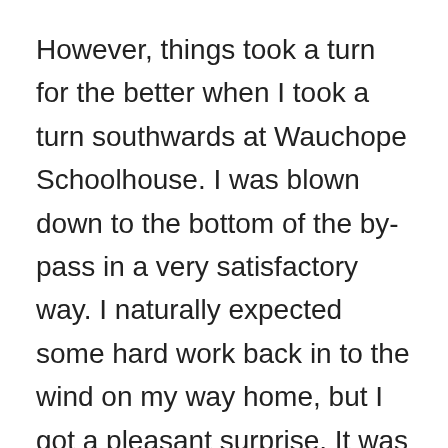However, things took a turn for the better when I took a turn southwards at Wauchope Schoolhouse. I was blown down to the bottom of the by-pass in a very satisfactory way. I naturally expected some hard work back in to the wind on my way home, but I got a pleasant surprise. It was one of those rare days when for some unfathomable reason the wind helps in both directions. The pedal home was a breeze.
I had time and energy to look about. There was a lot of clover beside the road at one point